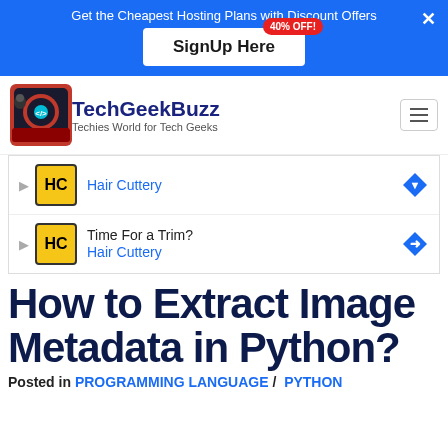[Figure (infographic): Blue ad banner: 'Get the Cheapest Hosting Plans with Discount Offers' with 'SignUp Here' button and '40% OFF!' badge]
TechGeekBuzz — Techies World for Tech Geeks
[Figure (infographic): Two ad rows for Hair Cuttery with HC logo icons]
How to Extract Image Metadata in Python?
Posted in PROGRAMMING LANGUAGE / PYTHON